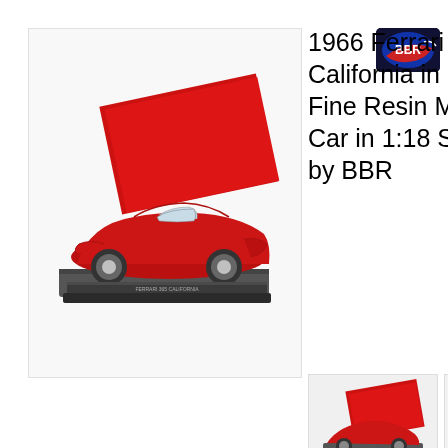[Figure (photo): Main large photo of a red 1966 Ferrari 365 California scale model car on a display base, shown with its red presentation box lid open behind it, set against a white background.]
[Figure (logo): BBR models logo — blue and red circular logo with 'BBR' text on dark background.]
1966 Ferrari 365 California in Red Fine Resin Model Car in 1:18 Scale by BBR
[Figure (photo): Thumbnail photo of the red Ferrari 365 California scale model with red box, front-left angle view.]
[Figure (photo): Thumbnail photo of the red Ferrari 365 California scale model, side view showing the open convertible body.]
[Figure (photo): Thumbnail photo of the red Ferrari 365 California scale model, top-down view showing interior dashboard and cockpit.]